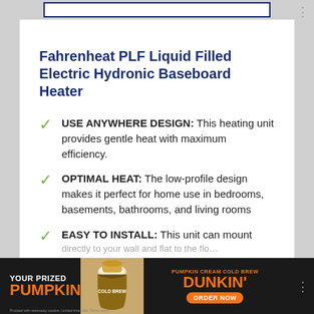Fahrenheat PLF Liquid Filled Electric Hydronic Baseboard Heater
USE ANYWHERE DESIGN: This heating unit provides gentle heat with maximum efficiency.
OPTIMAL HEAT: The low-profile design makes it perfect for home use in bedrooms, basements, bathrooms, and living rooms
EASY TO INSTALL: This unit can mount
[Figure (photo): Dunkin' advertisement banner showing a Pumpkin Cream Cold Brew with text YOUR PRIZED PUMPKIN and ORDER NOW button]